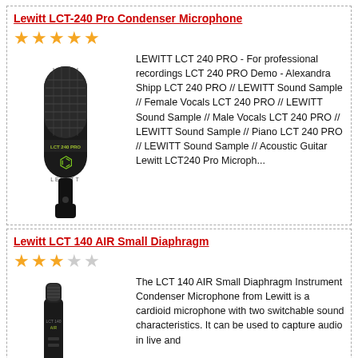Lewitt LCT-240 Pro Condenser Microphone
[Figure (other): 5 gold star rating]
[Figure (photo): Lewitt LCT 240 PRO condenser microphone, black body with green logo]
LEWITT LCT 240 PRO - For professional recordings LCT 240 PRO Demo - Alexandra Shipp LCT 240 PRO // LEWITT Sound Sample // Female Vocals LCT 240 PRO // LEWITT Sound Sample // Male Vocals LCT 240 PRO // LEWITT Sound Sample // Piano LCT 240 PRO // LEWITT Sound Sample // Acoustic Guitar Lewitt LCT240 Pro Microph...
Lewitt LCT 140 AIR Small Diaphragm
[Figure (other): 3 gold stars and 2 grey/empty stars rating]
[Figure (photo): Lewitt LCT 140 AIR small diaphragm condenser microphone, black pencil mic]
The LCT 140 AIR Small Diaphragm Instrument Condenser Microphone from Lewitt is a cardioid microphone with two switchable sound characteristics. It can be used to capture audio in live and